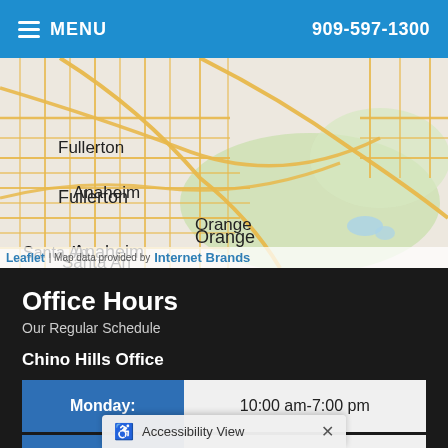MENU  909-597-1300
[Figure (map): Street map showing Fullerton, Anaheim, Orange, Santa Ana, and Corona area in Southern California. Map data provided by Internet Brands via Leaflet.]
Office Hours
Our Regular Schedule
Chino Hills Office
| Day | Hours |
| --- | --- |
| Monday: | 10:00 am-7:00 pm |
| Tuesday: | 10:00 am-7:00 pm |